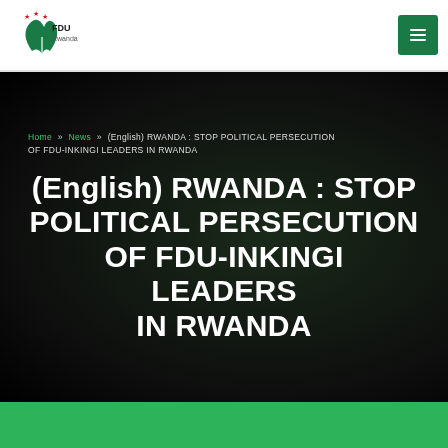[Figure (logo): FDU Rwanda logo with stylized plant/leaf and stars, green and red color scheme]
[Figure (other): Green hamburger/menu button in top right corner]
Home » News » (English) RWANDA : STOP POLITICAL PERSECUTION OF FDU-INKINGI LEADERS IN RWANDA
(English) RWANDA : STOP POLITICAL PERSECUTION OF FDU-INKINGI LEADERS IN RWANDA